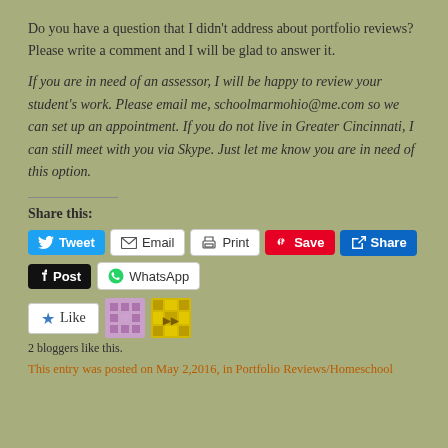Do you have a question that I didn't address about portfolio reviews? Please write a comment and I will be glad to answer it.
If you are in need of an assessor, I will be happy to review your student's work. Please email me, schoolmarmohio@me.com so we can set up an appointment. If you do not live in Greater Cincinnati, I can still meet with you via Skype. Just let me know you are in need of this option.
Share this:
[Figure (infographic): Social share buttons: Tweet (Twitter/blue), Email (white), Print (white), Save (Pinterest/red), Share (LinkedIn/blue), Post (Tumblr/black), WhatsApp (white)]
[Figure (infographic): Like button and two blogger avatar thumbnails]
2 bloggers like this.
This entry was posted on May 2,2016, in Portfolio Reviews/Homeschool